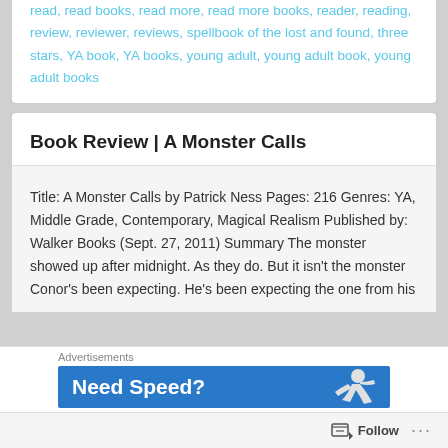read, read books, read more, read more books, reader, reading, review, reviewer, reviews, spellbook of the lost and found, three stars, YA book, YA books, young adult, young adult book, young adult books
Book Review | A Monster Calls
Title: A Monster Calls by Patrick Ness Pages: 216 Genres: YA, Middle Grade, Contemporary, Magical Realism Published by: Walker Books (Sept. 27, 2011) Summary The monster showed up after midnight. As they do. But it isn't the monster Conor's been expecting. He's been expecting the one from his
Advertisements
[Figure (other): Blue advertisement banner reading 'Need Speed?' with a figure of a running person on the right side]